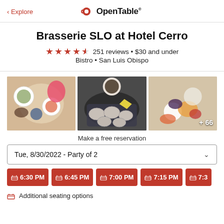< Explore | OpenTable
Brasserie SLO at Hotel Cerro
★★★★★½ 251 reviews • $30 and under
Bistro • San Luis Obispo
[Figure (photo): Three food photos from the restaurant: colorful dishes and drinks overhead view, oysters on ice with lemon and sauce, and a dish with fruits and cream]
Make a free reservation
Tue, 8/30/2022 - Party of 2
6:30 PM  6:45 PM  7:00 PM  7:15 PM  7:3...
Additional seating options